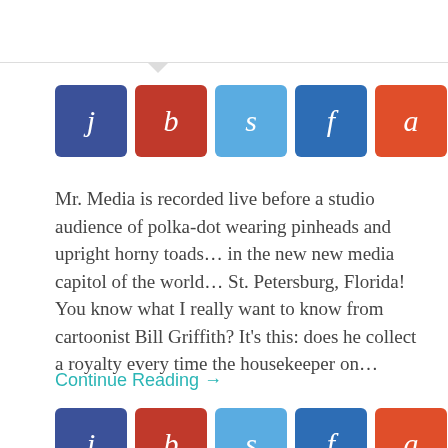[Figure (infographic): Row of 8 social sharing icon buttons with letters: j (dark blue), b (red), s (light blue), f (blue), a (orange-red), C (red), k (light blue/cyan), r (dark navy)]
Mr. Media is recorded live before a studio audience of polka-dot wearing pinheads and upright horny toads… in the new new media capitol of the world… St. Petersburg, Florida!   You know what I really want to know from cartoonist Bill Griffith? It's this: does he collect a royalty every time the housekeeper on…
Continue Reading →
[Figure (infographic): Row of 8 social sharing icon buttons with letters: j (dark blue), b (red), s (light blue), f (blue), a (orange-red), C (red), k (light blue/cyan), r (dark navy)]